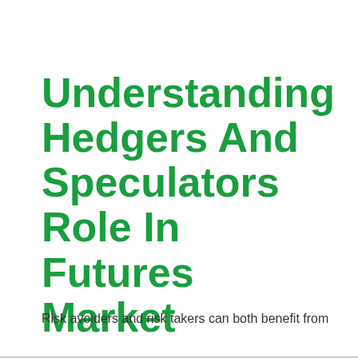Understanding Hedgers And Speculators Role In Futures Market
Risk avoiders and risk takers can both benefit from